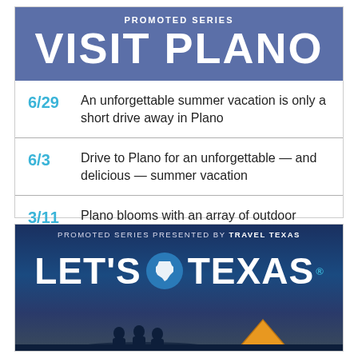PROMOTED SERIES
VISIT PLANO
6/29  An unforgettable summer vacation is only a short drive away in Plano
6/3  Drive to Plano for an unforgettable — and delicious — summer vacation
3/11  Plano blooms with an array of outdoor activities this spring
[Figure (illustration): Bottom promotional banner: dark blue background with silhouette of people camping, text 'PROMOTED SERIES PRESENTED BY TRAVEL TEXAS' and 'LET'S TEXAS' in large white bold letters with Texas state outline badge in blue circle.]